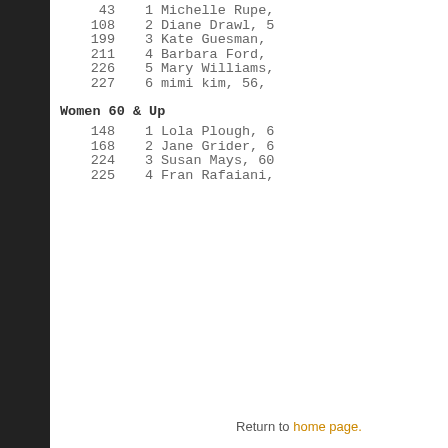| Bib | Place | Name |
| --- | --- | --- |
| 43 | 1 | Michelle Rupe, |
| 108 | 2 | Diane Drawl, 5 |
| 199 | 3 | Kate Guesman, |
| 211 | 4 | Barbara Ford, |
| 226 | 5 | Mary Williams, |
| 227 | 6 | mimi kim, 56, |
Women 60 & Up
| Bib | Place | Name |
| --- | --- | --- |
| 148 | 1 | Lola Plough, 6 |
| 168 | 2 | Jane Grider, 6 |
| 224 | 3 | Susan Mays, 60 |
| 225 | 4 | Fran Rafaiani, |
Return to home page.